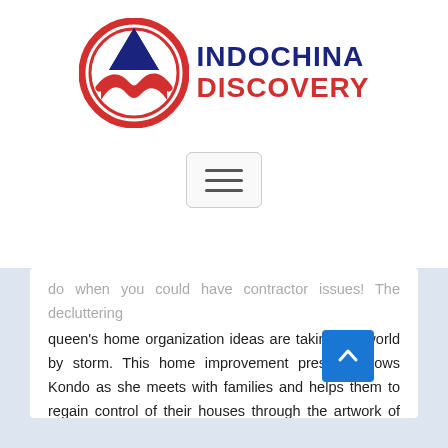[Figure (logo): Indochina Discovery logo with circular emblem containing a blue arrow and red mountain/wave shape, with 'INDOCHINA' in dark blue and 'DISCOVERY' in red text to the right]
[Figure (other): Hamburger menu button with three horizontal lines inside a rounded rectangle border]
do when you could have contractor issues! The decluttering queen's home organization ideas are taking the world by storm. This home improvement present follows Kondo as she meets with families and helps them to regain control of their houses through the artwork of tidying. This is a must-see present for individuals who lease properties on Airbnb.
In the last three months, the corporate has tracked 330 million U.S. Google searches for home improvement ...